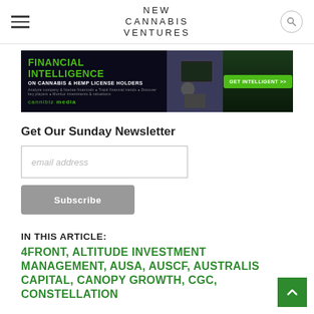NEW CANNABIS VENTURES
[Figure (screenshot): Advertisement banner for Cannibiz Media: Financial Intelligence on Cannabis & Hemp License Holders with GET INTELLIGENT button]
Get Our Sunday Newsletter
email address [input field]
Subscribe [button]
IN THIS ARTICLE:
4FRONT, ALTITUDE INVESTMENT MANAGEMENT, AUSA, AUSCF, AUSTRALIS CAPITAL, CANOPY GROWTH, CGC, CONSTELLATION